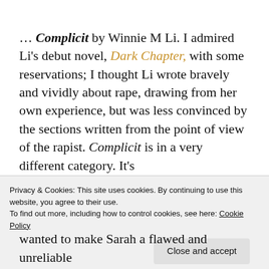… Complicit by Winnie M Li. I admired Li's debut novel, Dark Chapter, with some reservations; I thought Li wrote bravely and vividly about rape, drawing from her own experience, but was less convinced by the sections written from the point of view of the rapist. Complicit is in a very different category. It's
Privacy & Cookies: This site uses cookies. By continuing to use this website, you agree to their use. To find out more, including how to control cookies, see here: Cookie Policy
wanted to make Sarah a flawed and unreliable